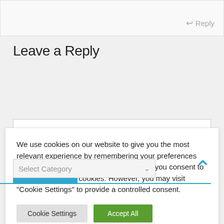Reply
Leave a Reply
We use cookies on our website to give you the most relevant experience by remembering your preferences and repeat visits. By clicking “Accept All”, you consent to the use of ALL the cookies. However, you may visit "Cookie Settings" to provide a controlled consent.
Cookie Settings   Accept All
Categories
Select Category